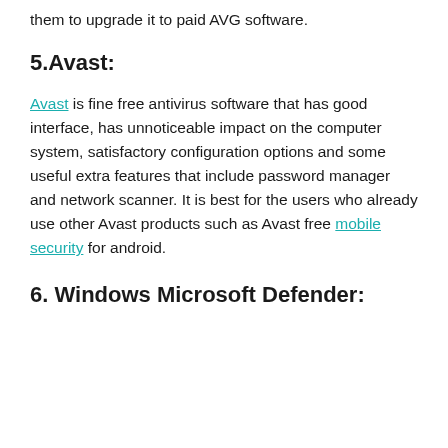them to upgrade it to paid AVG software.
5.Avast:
Avast is fine free antivirus software that has good interface, has unnoticeable impact on the computer system, satisfactory configuration options and some useful extra features that include password manager and network scanner. It is best for the users who already use other Avast products such as Avast free mobile security for android.
6. Windows Microsoft Defender: